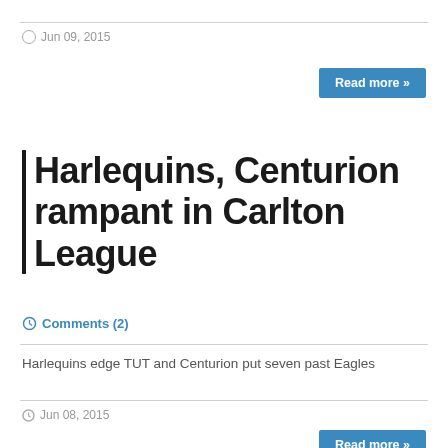Jun 09, 2015
Read more »
Harlequins, Centurion rampant in Carlton League
Comments (2)
Harlequins edge TUT and Centurion put seven past Eagles
Jun 08, 2015
Read more »